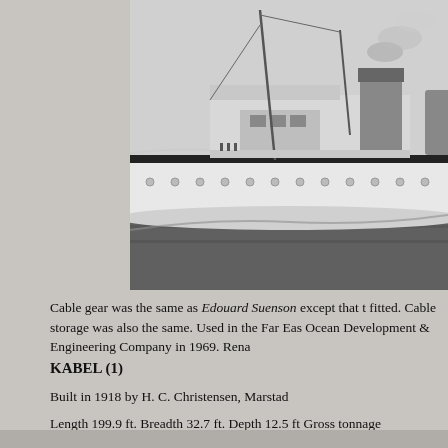[Figure (photo): Black and white photograph of a large passenger or cable ship at sea, showing the vessel's port side with masts, a large funnel emitting smoke, and a white hull. The ship appears to be a historical vessel, likely early-to-mid 20th century.]
Cable gear was the same as Edouard Suenson except that t fitted. Cable storage was also the same. Used in the Far Eas Ocean Development & Engineering Company in 1969. Rena
KABEL (1)
Built in 1918 by H. C. Christensen, Marstad
Length 199.9 ft. Breadth 32.7 ft. Depth 12.5 ft Gross tonnage